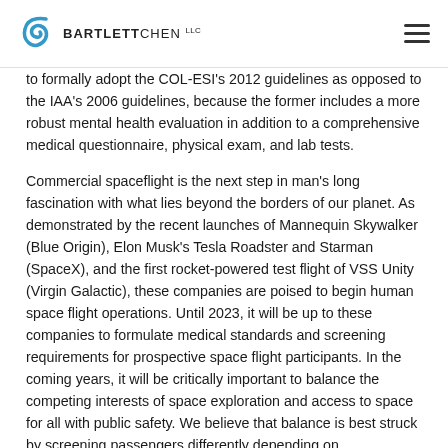BARTLETTCHEN LLC
to formally adopt the COL-ESI's 2012 guidelines as opposed to the IAA's 2006 guidelines, because the former includes a more robust mental health evaluation in addition to a comprehensive medical questionnaire, physical exam, and lab tests.
Commercial spaceflight is the next step in man's long fascination with what lies beyond the borders of our planet. As demonstrated by the recent launches of Mannequin Skywalker (Blue Origin), Elon Musk's Tesla Roadster and Starman (SpaceX), and the first rocket-powered test flight of VSS Unity (Virgin Galactic), these companies are poised to begin human space flight operations. Until 2023, it will be up to these companies to formulate medical standards and screening requirements for prospective space flight participants. In the coming years, it will be critically important to balance the competing interests of space exploration and access to space for all with public safety. We believe that balance is best struck by screening passengers differently depending on